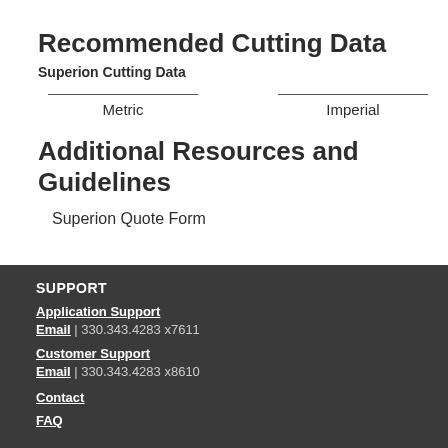Recommended Cutting Data
Superion Cutting Data
Metric   Imperial
Additional Resources and Guidelines
Superion Quote Form
SUPPORT
Application Support
Email  |  330.343.4283 x7611
Customer Support
Email  |  330.343.4283 x8610
Contact
FAQ